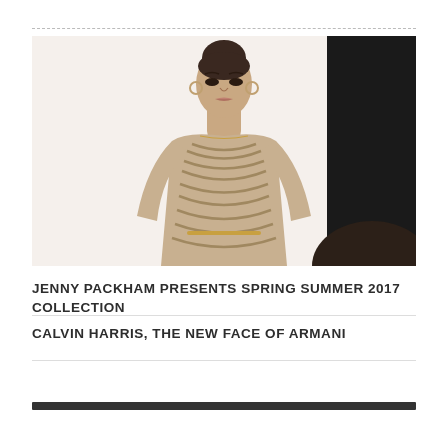[Figure (photo): Fashion runway photo of a female model wearing a beige/nude chevron-patterned sheer long-sleeve dress. Model has dark hair pulled up. Background is light on left, dark panel on right.]
JENNY PACKHAM PRESENTS SPRING SUMMER 2017 COLLECTION
CALVIN HARRIS, THE NEW FACE OF ARMANI